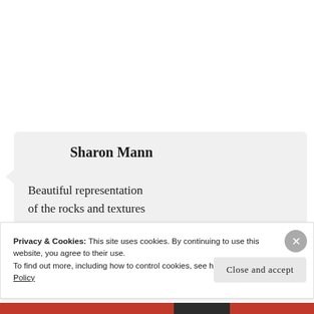[Figure (photo): Circular avatar photo of Sharon Mann, a woman wearing glasses, smiling, with dark hair]
Sharon Mann
Beautiful representation of the rocks and textures Margaret.
Privacy & Cookies: This site uses cookies. By continuing to use this website, you agree to their use.
To find out more, including how to control cookies, see here: Cookie Policy
Close and accept